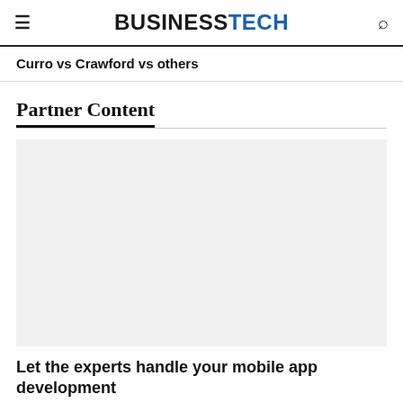≡ BUSINESSTECH 🔍
Curro vs Crawford vs others
Partner Content
[Figure (other): Gray placeholder advertisement block]
Let the experts handle your mobile app development